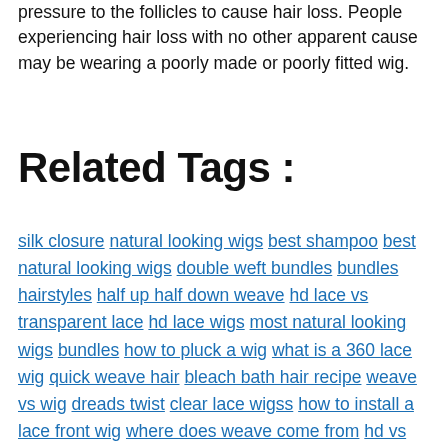pressure to the follicles to cause hair loss. People experiencing hair loss with no other apparent cause may be wearing a poorly made or poorly fitted wig.
Related Tags :
silk closure natural looking wigs best shampoo best natural looking wigs double weft bundles bundles hairstyles half up half down weave hd lace vs transparent lace hd lace wigs most natural looking wigs bundles how to pluck a wig what is a 360 lace wig quick weave hair bleach bath hair recipe weave vs wig dreads twist clear lace wigss how to install a lace front wig where does weave come from hd vs transparent lace full